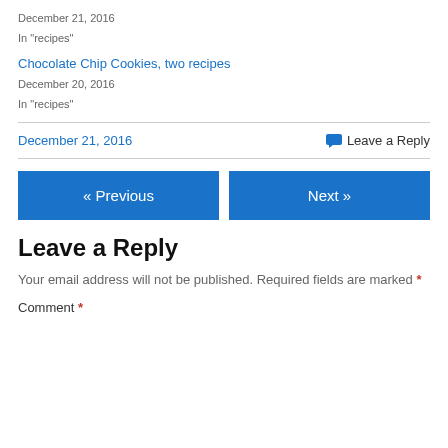December 21, 2016
In "recipes"
Chocolate Chip Cookies, two recipes
December 20, 2016
In "recipes"
December 21, 2016   💬 Leave a Reply
« Previous   Next »
Leave a Reply
Your email address will not be published. Required fields are marked *
Comment *